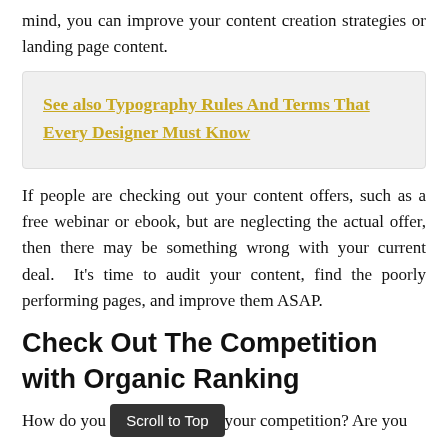mind, you can improve your content creation strategies or landing page content.
See also Typography Rules And Terms That Every Designer Must Know
If people are checking out your content offers, such as a free webinar or ebook, but are neglecting the actual offer, then there may be something wrong with your current deal. It's time to audit your content, find the poorly performing pages, and improve them ASAP.
Check Out The Competition with Organic Ranking
How do you compare with your competition? Are you getting higher...